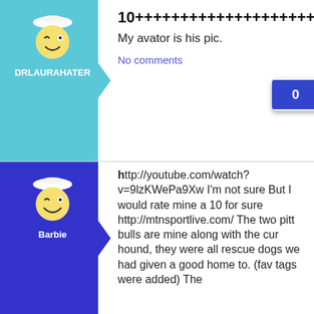[Figure (illustration): Avatar of user DRLAURAHATER: cartoon winking face with sailor hat on teal background with arrow pointing right]
10++++++++++++++++++++++
My avator is his pic.
No comments
[Figure (illustration): Like button with count 0 and thumbs up icon, dark blue]
[Figure (illustration): Avatar of user Barbie: cartoon winking face with sailor hat on dark blue background with arrow pointing right]
http://youtube.com/watch?v=9lzKWePa9Xw I'm not sure But I would rate mine a 10 for sure http://mtnsportlive.com/ The two pitt bulls are mine along with the cur hound, they were all rescue dogs we had given a good home to. (fav tags were added) The